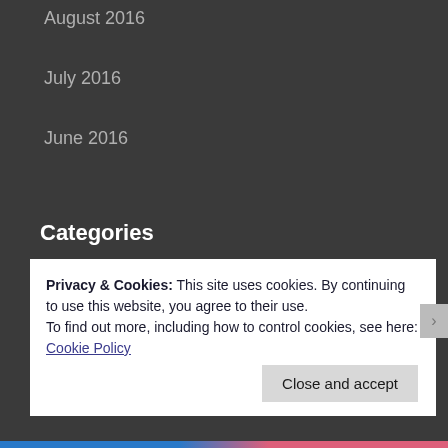August 2016
July 2016
June 2016
Categories
60s
80s
90s
Alternative Music
Privacy & Cookies: This site uses cookies. By continuing to use this website, you agree to their use.
To find out more, including how to control cookies, see here: Cookie Policy
Close and accept